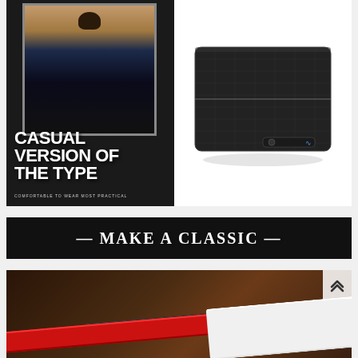[Figure (photo): Product advertisement banner with black background. Left side shows a young male model wearing a dark denim jacket with sherpa collar and a black hat, standing against a brown background. Below the model photo is bold white text reading 'CASUAL VERSION OF THE TYPE' with smaller text 'COMFORTABLE TO WEAR MOST PRACTICAL'. Right side shows a black leather bifold wallet with a Bluetooth/smart connectivity button and blue WiFi icon on white background.]
[Figure (photo): Black banner with centered white serif text reading '— MAKE A CLASSIC —']
[Figure (photo): Partial bottom image showing leather belts on a dark wooden background — a red belt, a black belt, and a white belt arranged diagonally.]